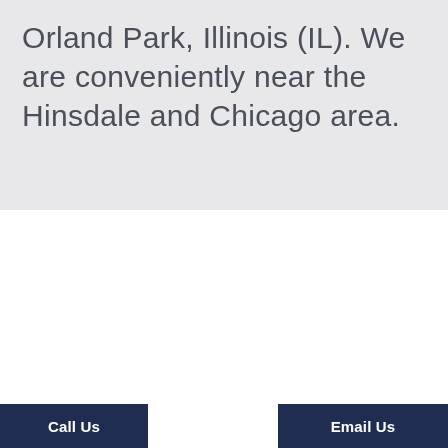Orland Park, Illinois (IL). We are conveniently near the Hinsdale and Chicago area.
OUR
LOCATIONS
Call Us
Email Us